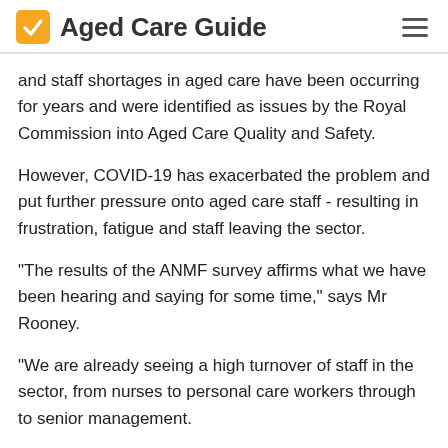Aged Care Guide
and staff shortages in aged care have been occurring for years and were identified as issues by the Royal Commission into Aged Care Quality and Safety.
However, COVID-19 has exacerbated the problem and put further pressure onto aged care staff - resulting in frustration, fatigue and staff leaving the sector.
"The results of the ANMF survey affirms what we have been hearing and saying for some time," says Mr Rooney.
"We are already seeing a high turnover of staff in the sector, from nurses to personal care workers through to senior management.
"The pandemic is not yet over and the Commonwealth Chief Medical Officer has reported that the number of cases of the